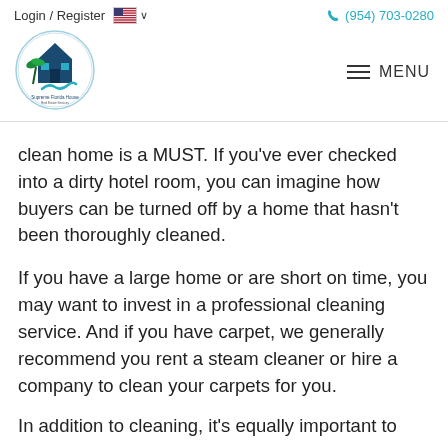Login / Register    🇺🇸 ∨    (954) 703-0280
[Figure (logo): Supreme Florida House circular logo with palm tree and house icon, teal and dark blue colors]
clean home is a MUST. If you've ever checked into a dirty hotel room, you can imagine how buyers can be turned off by a home that hasn't been thoroughly cleaned.
If you have a large home or are short on time, you may want to invest in a professional cleaning service. And if you have carpet, we generally recommend you rent a steam cleaner or hire a company to clean your carpets for you.
In addition to cleaning, it's equally important to